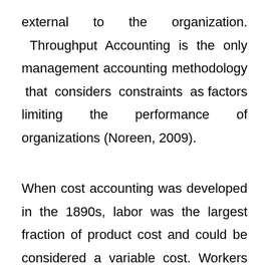external to the organization. Throughput Accounting is the only management accounting methodology that considers constraints as factors limiting the performance of organizations (Noreen, 2009).
When cost accounting was developed in the 1890s, labor was the largest fraction of product cost and could be considered a variable cost. Workers often did not know how many hours they would work in a week when they reported on Monday morning because time-keeping systems were rudimentary. Cost accountants, therefore, concentrated on how